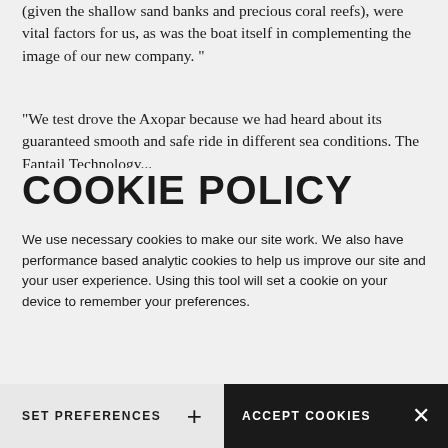(given the shallow sand banks and precious coral reefs), were vital factors for us, as was the boat itself in complementing the image of our new company. "
"We test drove the Axopar because we had heard about its guaranteed smooth and safe ride in different sea conditions. The Fantail Technology...
COOKIE POLICY
We use necessary cookies to make our site work. We also have performance based analytic cookies to help us improve our site and your user experience. Using this tool will set a cookie on your device to remember your preferences.
SET PREFERENCES
ACCEPT COOKIES